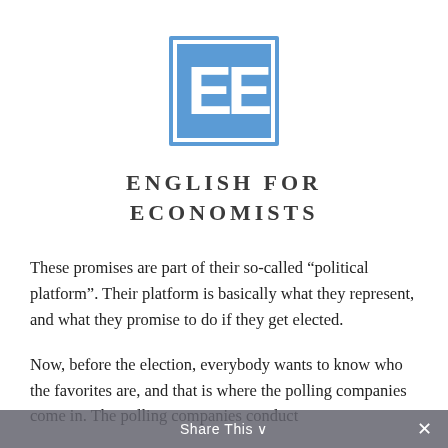[Figure (logo): Blue square logo with white border containing white letters 'EE' side by side, for English for Economists]
ENGLISH FOR ECONOMISTS
These promises are part of their so-called “political platform”. Their platform is basically what they represent, and what they promise to do if they get elected.
Now, before the election, everybody wants to know who the favorites are, and that is where the polling companies come in. The polling companies conduct
Share This ∨  ×